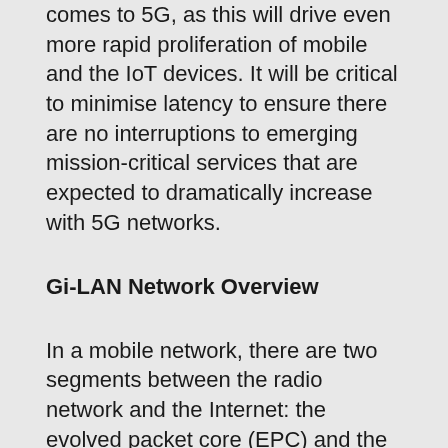comes to 5G, as this will drive even more rapid proliferation of mobile and the IoT devices. It will be critical to minimise latency to ensure there are no interruptions to emerging mission-critical services that are expected to dramatically increase with 5G networks.
Gi-LAN Network Overview
In a mobile network, there are two segments between the radio network and the Internet: the evolved packet core (EPC) and the Gi/SGi-LAN. The EPC is a packet-based mobile core running both voice and data on 4G/ LTE networks. The Gi-LAN is the network where service providers typically provide various homegrown and value-added services using unique capabilities through a combination of IP-based service functions, such as firewall, carrier-grade NAT (CGNAT), deep packet inspection (DPI),